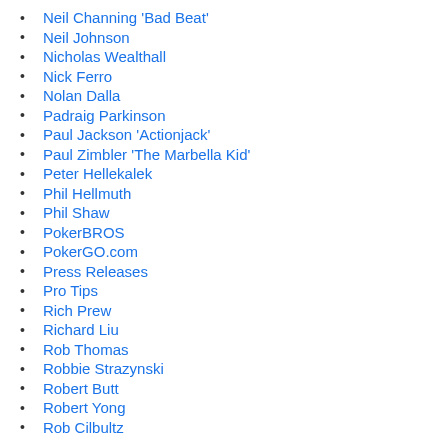Neil Channing 'Bad Beat'
Neil Johnson
Nicholas Wealthall
Nick Ferro
Nolan Dalla
Padraig Parkinson
Paul Jackson 'Actionjack'
Paul Zimbler 'The Marbella Kid'
Peter Hellekalek
Phil Hellmuth
Phil Shaw
PokerBROS
PokerGO.com
Press Releases
Pro Tips
Rich Prew
Richard Liu
Rob Thomas
Robbie Strazynski
Robert Butt
Robert Yong
Rob Cilbultz